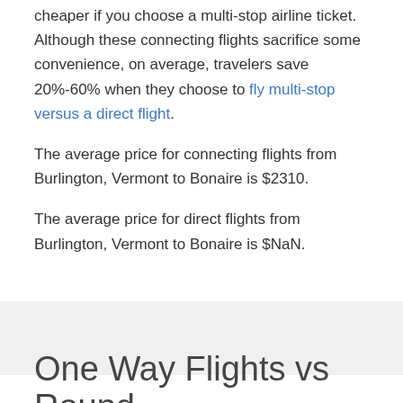cheaper if you choose a multi-stop airline ticket. Although these connecting flights sacrifice some convenience, on average, travelers save 20%-60% when they choose to fly multi-stop versus a direct flight.
The average price for connecting flights from Burlington, Vermont to Bonaire is $2310.
The average price for direct flights from Burlington, Vermont to Bonaire is $NaN.
One Way Flights vs Round